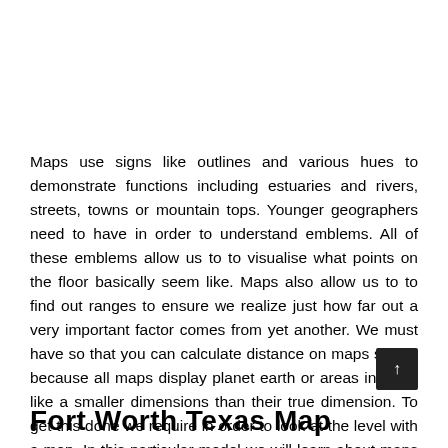Maps use signs like outlines and various hues to demonstrate functions including estuaries and rivers, streets, towns or mountain tops. Younger geographers need to have in order to understand emblems. All of these emblems allow us to to visualise what points on the floor basically seem like. Maps also allow us to to find out ranges to ensure we realize just how far out a very important factor comes from yet another. We must have so that you can calculate distance on maps simply because all maps display planet earth or areas inside it like a smaller dimensions than their true dimension. To get this done we require in order to look at the level with a map. In this particular model we will learn about maps and ways to read through them. Furthermore you will discover ways to pull some maps. Fort Worth Texas Map
Fort Worth Texas Map